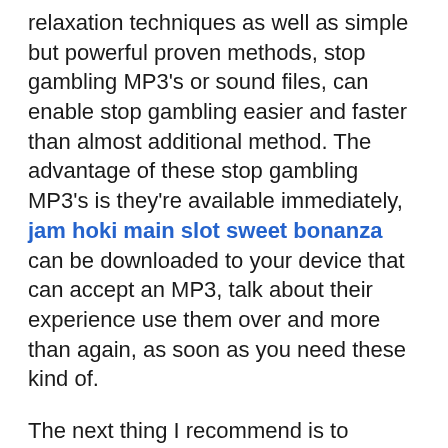relaxation techniques as well as simple but powerful proven methods, stop gambling MP3's or sound files, can enable stop gambling easier and faster than almost additional method. The advantage of these stop gambling MP3's is they're available immediately, jam hoki main slot sweet bonanza can be downloaded to your device that can accept an MP3, talk about their experience use them over and more than again, as soon as you need these kind of.
The next thing I recommend is to encourage human being with a gambling problem to seek counselling. I highly recommend a therapist who practices hypnotherapy. Might of therapy effectively replaces negative thinking within the gamblers subconscious